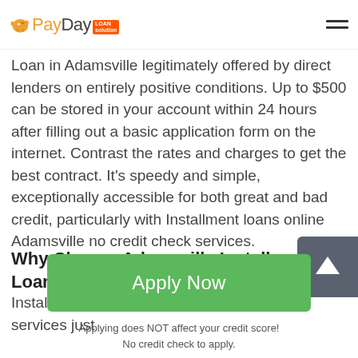PayDay Loan Solution
Loan in Adamsville legitimately offered by direct lenders on entirely positive conditions. Up to $500 can be stored in your account within 24 hours after filling out a basic application form on the internet. Contrast the rates and charges to get the best contract. It's speedy and simple, exceptionally accessible for both great and bad credit, particularly with Installment loans online Adamsville no credit check services.
Why Choose Adamsville Installment Loans
Installment loans Adamsville no credit check services just
[Figure (other): Green Apply Now button with text 'Apply Now']
Applying does NOT affect your credit score!
No credit check to apply.